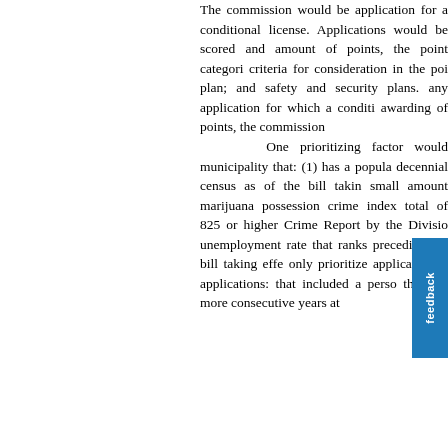The commission would be application for a conditional license. Applications would be scored and amount of points, the point categori criteria for consideration in the poi plan; and safety and security plans. any application for which a conditi awarding of points, the commission One prioritizing factor would municipality that: (1) has a popula decennial census as of the bill takin small amount marijuana possession crime index total of 825 or higher Crime Report by the Divisio unemployment rate that ranks preceding the bill taking effe only prioritize applications f applications: that included a perso three or more consecutive years at